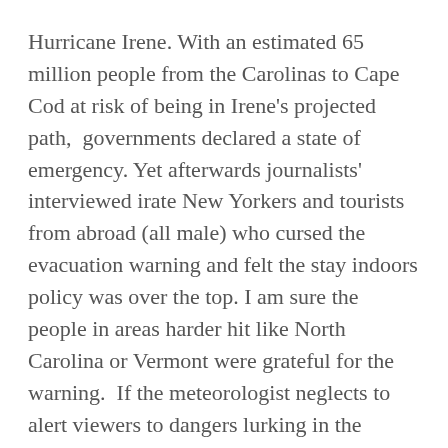Hurricane Irene. With an estimated 65 million people from the Carolinas to Cape Cod at risk of being in Irene's projected path,  governments declared a state of emergency. Yet afterwards journalists' interviewed irate New Yorkers and tourists from abroad (all male) who cursed the evacuation warning and felt the stay indoors policy was over the top. I am sure the people in areas harder hit like North Carolina or Vermont were grateful for the warning.  If the meteorologist neglects to alert viewers to dangers lurking in the clouds, then he/she is at bigger fault.  Case in point, Hurricane Katrina.
I  know only one weatherman who is right all the time. My dad. He inherited the weather forecasting gene from my grandpa. As soon as